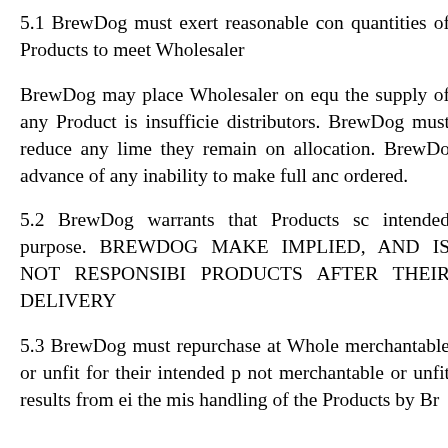5.1 BrewDog must exert reasonable con quantities of Products to meet Wholesaler
BrewDog may place Wholesaler on equ the supply of any Product is insufficie distributors. BrewDog must reduce any lime they remain on allocation. BrewDo advance of any inability to make full anc ordered.
5.2 BrewDog warrants that Products sc intended purpose. BREWDOG MAKE IMPLIED, AND IS NOT RESPONSIBI PRODUCTS AFTER THEIR DELIVERY
5.3 BrewDog must repurchase at Whole merchantable or unfit for their intended p not merchantable or unfit results from ei the mis handling of the Products by Br